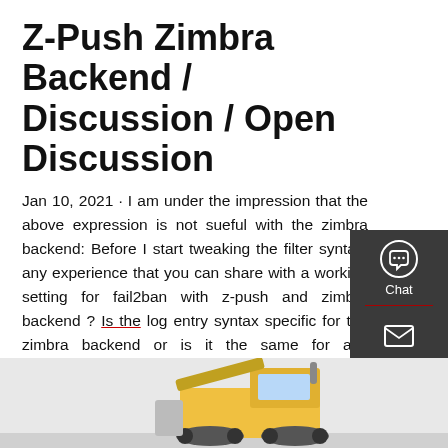Z-Push Zimbra Backend / Discussion / Open Discussion
Jan 10, 2021 · I am under the impression that the above expression is not sueful with the zimbra backend: Before I start tweaking the filter syntax, any experience that you can share with a working setting for fail2ban with z-push and zimbra backend ? Is the log entry syntax specific for the zimbra backend or is it the same for any backend?
[Figure (other): Dark button labeled 'Get a Quote']
[Figure (other): Right sidebar with Chat, Email, and Contact icons on dark background]
[Figure (photo): Partial view of a construction vehicle / bulldozer at the bottom of the page]